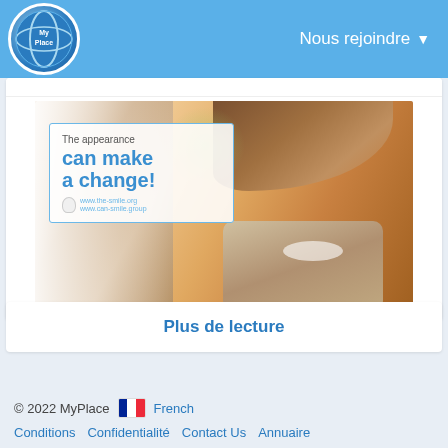Nous rejoindre ▾
[Figure (photo): Dental advertisement showing a smiling woman with text overlay: 'The appearance can make a change!' with a tooth icon and website URL]
0 Commentaires
Plus de lecture
© 2022 MyPlace  🇫🇷 French  Conditions  Confidentialité  Contact Us  Annuaire